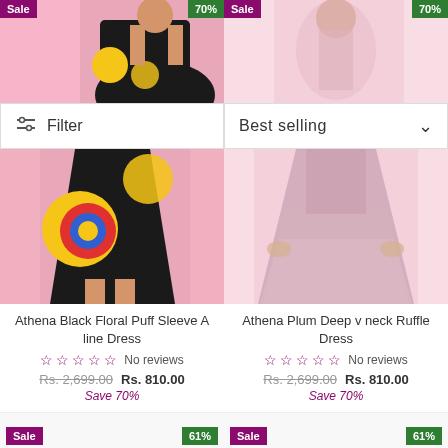[Figure (photo): Left product: woman in black floral dress on pink background, top half visible. Sale badge top-left, 70% badge top-right.]
[Figure (photo): Right product: woman in plum ruffle dress on pink background, top half visible. Sale badge top-left, 70% badge top-right.]
Filter
Best selling
[Figure (photo): Left product: woman in black floral dress, lower half showing full dress silhouette.]
[Figure (photo): Right product: woman in plum ruffle dress, lower half showing full dress silhouette.]
Athena Black Floral Puff Sleeve A line Dress
No reviews
Rs. 2,699.00  Rs. 810.00
Save 70%
Athena Plum Deep v neck Ruffle Dress
No reviews
Rs. 2,699.00  Rs. 810.00
Save 70%
Sale 61%
Sale 61%